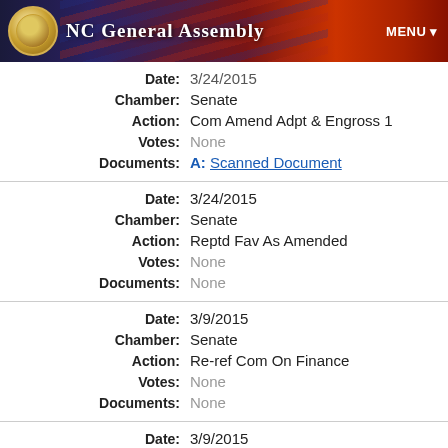NC General Assembly
| Field | Value |
| --- | --- |
| Date: | 3/24/2015 |
| Chamber: | Senate |
| Action: | Com Amend Adpt & Engross 1 |
| Votes: | None |
| Documents: | A: Scanned Document |
| Field | Value |
| --- | --- |
| Date: | 3/24/2015 |
| Chamber: | Senate |
| Action: | Reptd Fav As Amended |
| Votes: | None |
| Documents: | None |
| Field | Value |
| --- | --- |
| Date: | 3/9/2015 |
| Chamber: | Senate |
| Action: | Re-ref Com On Finance |
| Votes: | None |
| Documents: | None |
| Field | Value |
| --- | --- |
| Date: | 3/9/2015 |
| Chamber: | Senate |